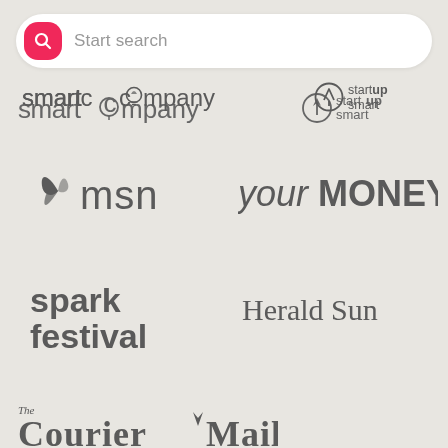[Figure (screenshot): Search bar UI element with pink search icon and 'Start search' placeholder text]
[Figure (logo): smartcompany logo in gray]
[Figure (logo): startup smart logo in gray with circle arrow icon]
[Figure (logo): MSN logo with butterfly icon in gray]
[Figure (logo): your MONEY logo in gray italic]
[Figure (logo): spark festival logo in gray bold lowercase]
[Figure (logo): Herald Sun logo in gray serif]
[Figure (logo): The Courier Mail logo in gray blackletter serif]